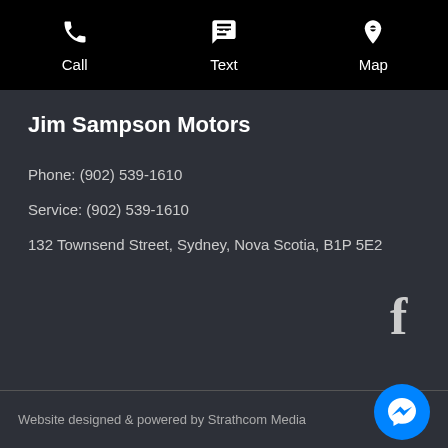Call  Text  Map
Jim Sampson Motors
Phone: (902) 539-1610
Service: (902) 539-1610
132 Townsend Street, Sydney, Nova Scotia, B1P 5E2
[Figure (logo): Facebook 'f' logo icon]
Website designed & powered by Strathcom Media
[Figure (logo): Facebook Messenger chat icon in blue circle]